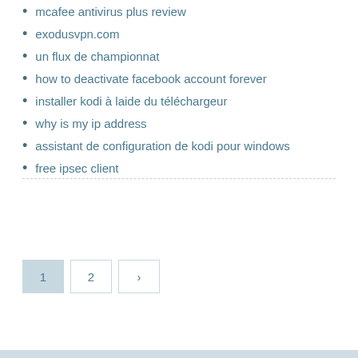mcafee antivirus plus review
exodusvpn.com
un flux de championnat
how to deactivate facebook account forever
installer kodi à laide du téléchargeur
why is my ip address
assistant de configuration de kodi pour windows
free ipsec client
1 2 >